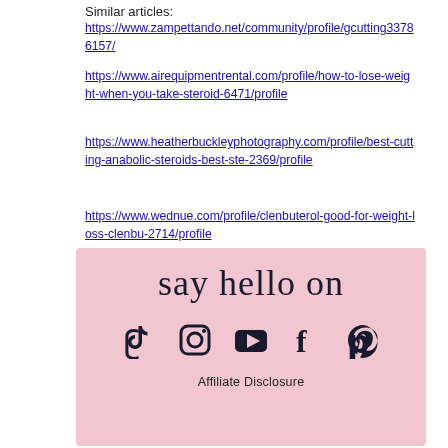Similar articles:
https://www.zampettando.net/community/profile/gcutting33786157/
https://www.airequipmentrental.com/profile/how-to-lose-weight-when-you-take-steroid-6471/profile
https://www.heatherbuckleyphotography.com/profile/best-cutting-anabolic-steroids-best-ste-2369/profile
https://www.wednue.com/profile/clenbuterol-good-for-weight-loss-clenbu-2714/profile
[Figure (infographic): Pink box with cursive 'say hello on' text, social media icons (TikTok, Instagram, YouTube, Facebook, Pinterest), and 'Affiliate Disclosure' text below]
Affiliate Disclosure